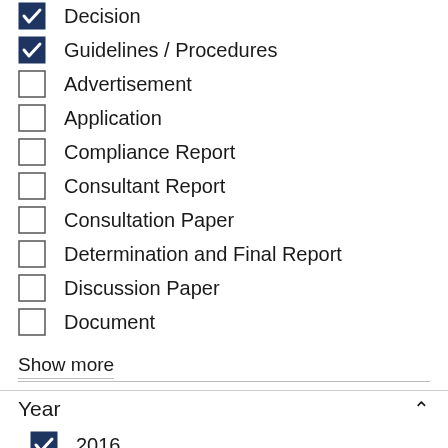Decision (checked)
Guidelines / Procedures (checked)
Advertisement (unchecked)
Application (unchecked)
Compliance Report (unchecked)
Consultant Report (unchecked)
Consultation Paper (unchecked)
Determination and Final Report (unchecked)
Discussion Paper (unchecked)
Document (unchecked)
Show more
Year
2016 (checked)
2013 (checked)
1998 (checked, partial)